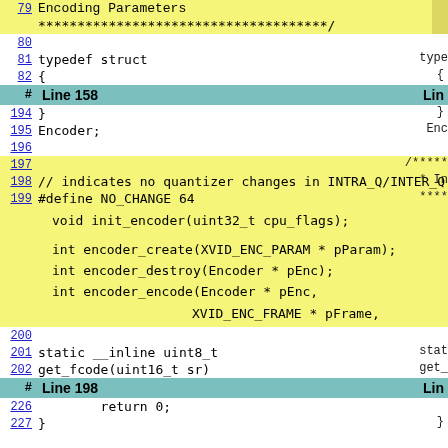79   Encoding Parameters
*************************************/
80
81   typedef struct
82   {
#    Line 158
194  }
195  Encoder;
196
197
198  // indicates no quantizer changes in INTRA_Q/INTER_Q modes
199  #define NO_CHANGE 64
void init_encoder(uint32_t cpu_flags);
int encoder_create(XVID_ENC_PARAM * pParam);
int encoder_destroy(Encoder * pEnc);
int encoder_encode(Encoder * pEnc,
XVID_ENC_FRAME * pFrame,
XVID_ENC_STATS * pResult);
200
201  static __inline uint8_t
202  get_fcode(uint16_t sr)
#    Line 198
226          return 0;
227  }